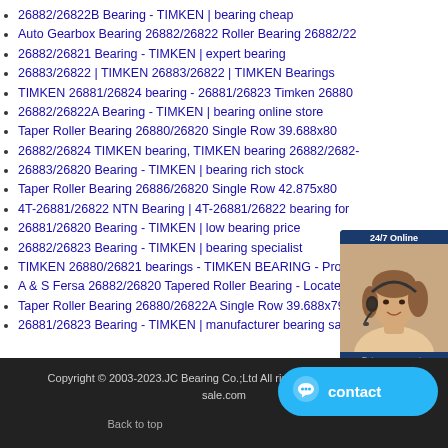26882/26822B Bearing - TIMKEN | bearing cheap
Auto Gearbox Bearing 26882/26822 Roller Bearing 26882/22
26882/26821 Bearing - TIMKEN | expert bearing
26883/26822 | TIMKEN 26883/26822 | TIMKEN Bearings
TIMKEN 26881/26824 bearing - 26881/26823 Timken 26880
26882/26822A Bearing - TIMKEN | bearing online store
Taper Roller Bearing 26880/26820 Single Row 39.688x80
26882/26824 TIMKEN bearing, TIMKEN bearing 26882/2682-
26883/26820 Bearing - TIMKEN | bearing rich stock
Taper Roller Bearing 26886/26820 Single Row 42.875x80
4T-26881/26822 NTN Bearing | 4T-26881/26822 bearing for
26881/26820 Bearing - TIMKEN | low bearing price
26882/26823 Bearing - TIMKEN | bearing specialist
TIMKEN 26880/26821 bearings - TIMKEN BEARING - Products
A & S Fersa 26882/26820 Tapered Roller Bearing - Locate
Taper Roller Bearing 26880/26822A Single Row 39.688x79
26881/26823 Bearing - TIMKEN | manufacturer bearing sale
[Figure (photo): Customer service chat widget showing a woman with headset, 24/7 Online label, and Quotation button]
Copyright © 2003-2023.JC Bearing Co.;Ltd All rights reserved. | bearing-sale.com
Back to top